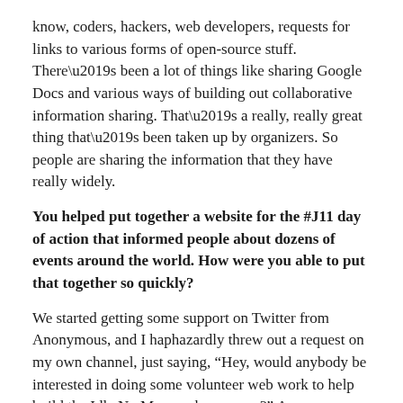know, coders, hackers, web developers, requests for links to various forms of open-source stuff. There's been a lot of things like sharing Google Docs and various ways of building out collaborative information sharing. That's a really, really great thing that's been taken up by organizers. So people are sharing the information that they have really widely.
You helped put together a website for the #J11 day of action that informed people about dozens of events around the world. How were you able to put that together so quickly?
We started getting some support on Twitter from Anonymous, and I haphazardly threw out a request on my own channel, just saying, “Hey, would anybody be interested in doing some volunteer web work to help build the Idle No More web presence?” Anonymous sent it out on their channel, and I got this huge response from people all offering to jump on board and contribute.